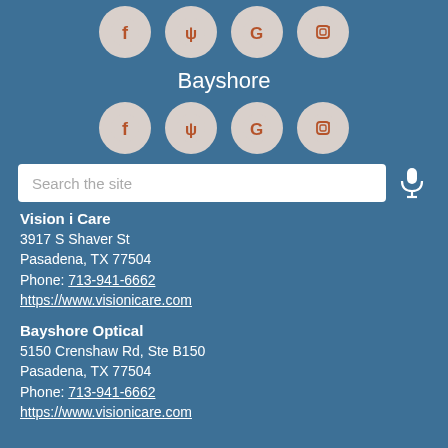[Figure (illustration): Four social media icon circles (Facebook, Yelp, Google, Instagram) partially cropped at top, muted beige circles with rust-colored icons]
Bayshore
[Figure (illustration): Four social media icon circles (Facebook, Yelp, Google, Instagram) in beige/cream with rust-colored icons]
Search the site
Vision i Care
3917 S Shaver St
Pasadena, TX 77504
Phone: 713-941-6662
https://www.visionicare.com
Bayshore Optical
5150 Crenshaw Rd, Ste B150
Pasadena, TX 77504
Phone: 713-941-6662
https://www.visionicare.com